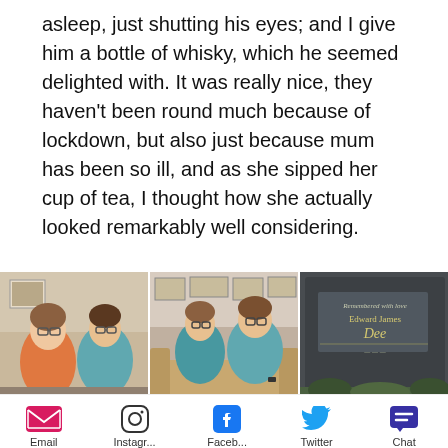asleep, just shutting his eyes; and I give him a bottle of whisky, which he seemed delighted with. It was really nice, they haven't been round much because of lockdown, but also just because mum has been so ill, and as she sipped her cup of tea, I thought how she actually looked remarkably well considering.
[Figure (photo): Three-panel photo strip: two panels show groups of people (teens and adults) indoors in casual clothing (orange and teal shirts), third panel shows a memorial plaque for Edward James Dee with a back-to-top chevron button overlay.]
Email
Instagr...
Faceb...
Twitter
Chat